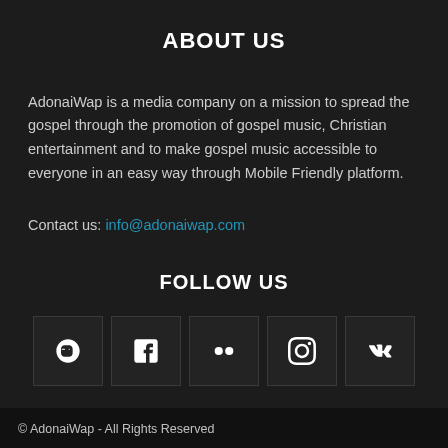ABOUT US
AdonaiWap is a media company on a mission to spread the gospel through the promotion of gospel music, Christian entertainment and to make gospel music accessible to everyone in an easy way through Mobile Friendly platform.
Contact us: info@adonaiwap.com
FOLLOW US
[Figure (infographic): Row of 5 social media icon buttons: Blogger, Facebook, Flickr, Instagram, VK]
© AdonaiWap - All Rights Reserved